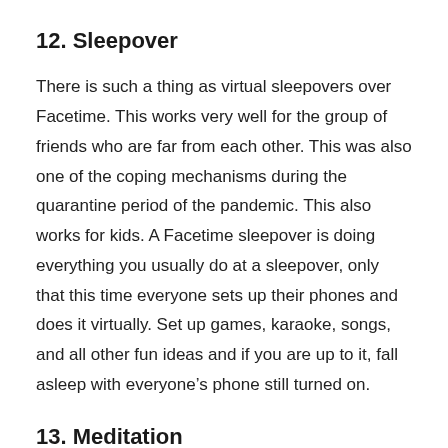12. Sleepover
There is such a thing as virtual sleepovers over Facetime. This works very well for the group of friends who are far from each other. This was also one of the coping mechanisms during the quarantine period of the pandemic. This also works for kids. A Facetime sleepover is doing everything you usually do at a sleepover, only that this time everyone sets up their phones and does it virtually. Set up games, karaoke, songs, and all other fun ideas and if you are up to it, fall asleep with everyone’s phone still turned on.
13. Meditation